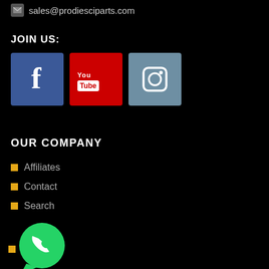sales@prodiesciparts.com
JOIN US:
[Figure (infographic): Three social media icon buttons: Facebook (blue), YouTube (red), Instagram (steel blue)]
OUR COMPANY
Affiliates
Contact
Search
[Figure (logo): WhatsApp logo - green circle with white phone handset icon and speech bubble tail]